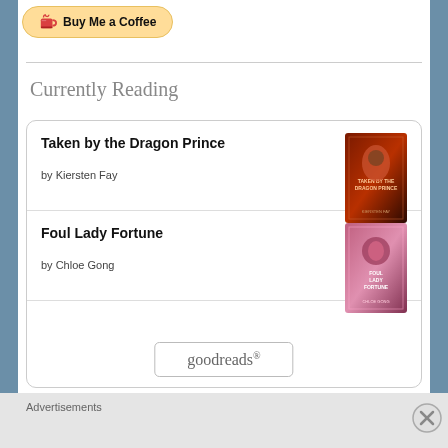[Figure (screenshot): Buy Me a Coffee button with heart-coffee icon]
Currently Reading
Taken by the Dragon Prince
by Kiersten Fay
Foul Lady Fortune
by Chloe Gong
[Figure (logo): goodreads logo button]
Advertisements